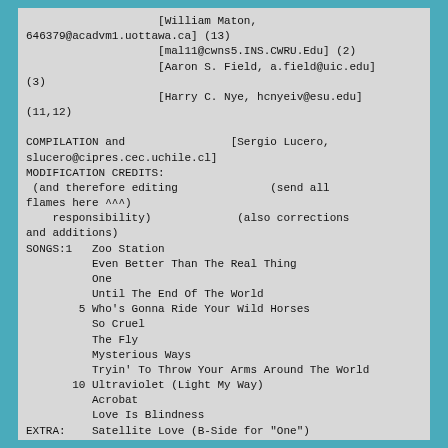[William Maton, 646379@acadvm1.uottawa.ca] (13)
                    [mal11@cwns5.INS.CWRU.Edu] (2)
                    [Aaron S. Field, a.field@uic.edu] (3)
                    [Harry C. Nye, hcnyeiv@esu.edu] (11,12)

COMPILATION and                    [Sergio Lucero, slucero@cipres.cec.uchile.cl]
MODIFICATION CREDITS:
 (and therefore editing              (send all flames here ^^^)
    responsibility)                 (also corrections and additions)
SONGS:1   Zoo Station
Even Better Than The Real Thing
One
Until The End Of The World
5 Who's Gonna Ride Your Wild Horses
So Cruel
The Fly
Mysterious Ways
Tryin' To Throw Your Arms Around The World
10 Ultraviolet (Light My Way)
Acrobat
Love Is Blindness
EXTRA:    Satellite Love (B-Side for "One")